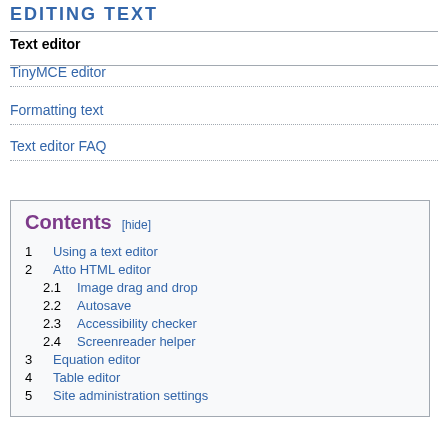EDITING TEXT
Text editor
TinyMCE editor
Formatting text
Text editor FAQ
| 1 | Using a text editor |
| 2 | Atto HTML editor |
| 2.1 | Image drag and drop |
| 2.2 | Autosave |
| 2.3 | Accessibility checker |
| 2.4 | Screenreader helper |
| 3 | Equation editor |
| 4 | Table editor |
| 5 | Site administration settings |